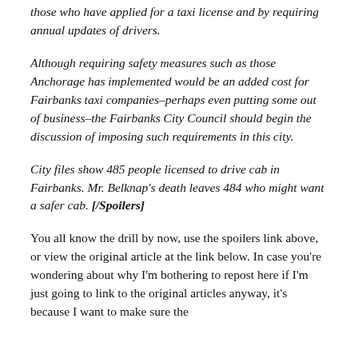those who have applied for a taxi license and by requiring annual updates of drivers.
Although requiring safety measures such as those Anchorage has implemented would be an added cost for Fairbanks taxi companies–perhaps even putting some out of business–the Fairbanks City Council should begin the discussion of imposing such requirements in this city.
City files show 485 people licensed to drive cab in Fairbanks. Mr. Belknap's death leaves 484 who might want a safer cab. [/Spoilers]
You all know the drill by now, use the spoilers link above, or view the original article at the link below. In case you're wondering about why I'm bothering to repost here if I'm just going to link to the original articles anyway, it's because I want to make sure the